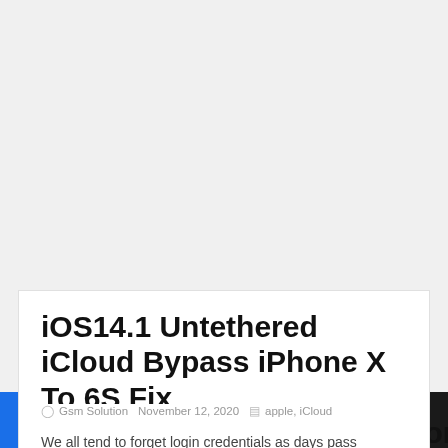Menu
iOS14.1 Untethered iCloud Bypass iPhone X To 6S Fix iMessage&Facetime,AppStore,Notifications.
Gsm Solution  November 12, 2020  apple, iCloud
We all tend to forget login credentials as days pass